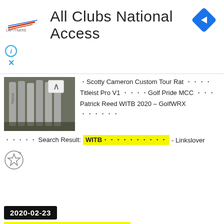[Figure (logo): Lapitnere brand logo with stylized swoosh lines in red/blue]
All Clubs National Access
[Figure (illustration): Blue diamond navigation/direction icon with white right-arrow]
[Figure (photo): Golf irons close-up photo thumbnail]
・Scotty Cameron Custom Tour Rat ・・・・ Titleist Pro V1 ・・・・Golf Pride MCC ・・・ Patrick Reed WITB 2020 – GolfWRX ・・・・・・
・・・・・ Search Result: WITB・・・・・・・・・・ - Linkslover
[Figure (illustration): Star with plus icon (add to favorites)]
2020-02-23
WITB・・・・・・・・・ ・2020・2・23・・WGC-Mexico Championship
・・WITB
[Figure (photo): Golf bag/clubs photo thumbnail]
…・・・・・・・・・・・・・・・・・・・・・・・ ・・・ Patrick Reed's